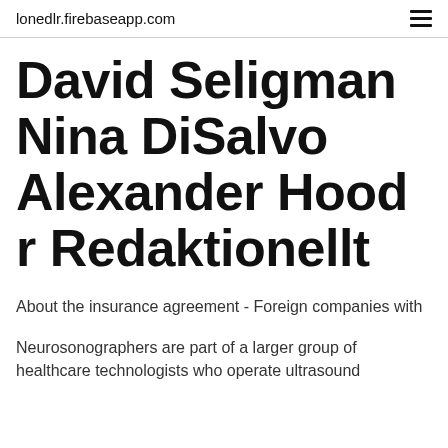lonedlr.firebaseapp.com
David Seligman Nina DiSalvo Alexander Hood r Redaktionellt
About the insurance agreement - Foreign companies with
Neurosonographers are part of a larger group of healthcare technologists who operate ultrasound